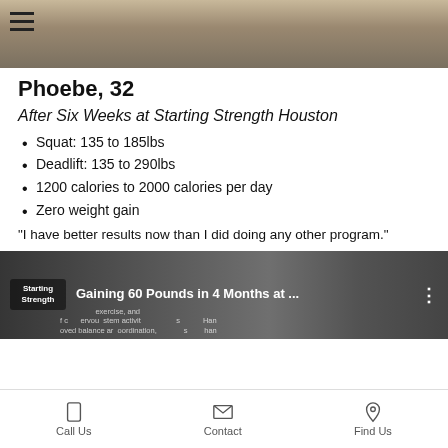[Figure (photo): Top portion of a gym photo showing equipment, partially obscured by a hamburger menu icon overlay]
Phoebe, 32
After Six Weeks at Starting Strength Houston
Squat: 135 to 185lbs
Deadlift: 135 to 290lbs
1200 calories to 2000 calories per day
Zero weight gain
"I have better results now than I did doing any other program."
[Figure (screenshot): YouTube video thumbnail showing 'Starting Strength' logo and title 'Gaining 60 Pounds in 4 Months at ...' with gym background imagery]
Call Us   Contact   Find Us